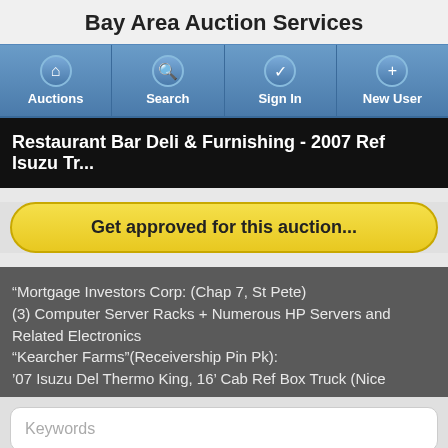Bay Area Auction Services
[Figure (screenshot): Navigation bar with four buttons: Auctions (home icon), Search (magnifier icon), Sign In (checkmark icon), New User (plus icon)]
Restaurant Bar Deli & Furnishing - 2007 Ref Isuzu Tr...
Get approved for this auction...
“Mortgage Investors Corp: (Chap 7, St Pete)
(3) Computer Server Racks + Numerous HP Servers and Related Electronics
“Kearcher Farms”(Receivership Pin Pk):
’07 Isuzu Del Thermo King, 16’ Cab Ref Box Truck (Nice
Keywords
Sort By
Lot/Sale Order Ascending
TOP